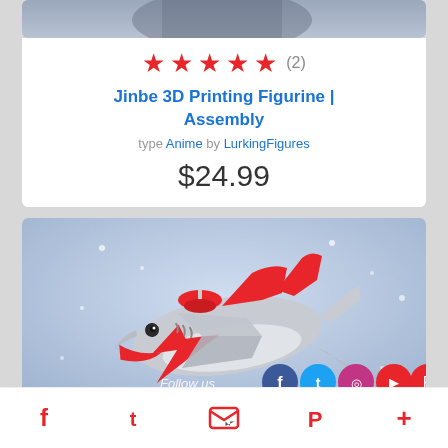[Figure (photo): Partial product image at the top of the card (truncated, showing a blurred figure background)]
★ ★ ★ ★ ★ (2)
Jinbe 3D Printing Figurine | Assembly
type Anime by LurkingFigures
$24.99
[Figure (illustration): 3D rendered shark-shaped submarine/flying vehicle with red markings and fins on a blue sky background]
Follow us (Facebook, Twitter, Instagram, YouTube, Pinterest social icons)
Facebook  Twitter  Email/Newsletter  Pinterest  More